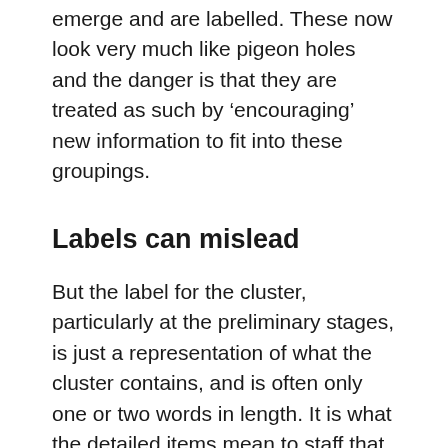emerge and are labelled. These now look very much like pigeon holes and the danger is that they are treated as such by 'encouraging' new information to fit into these groupings.
Labels can mislead
But the label for the cluster, particularly at the preliminary stages, is just a representation of what the cluster contains, and is often only one or two words in length. It is what the detailed items mean to staff that really defines what the cluster is all about. Once the cluster has been labelled, it is all too easy to just rely on the monicker to guide ongoing decisions. This is a natural thought process, but is based